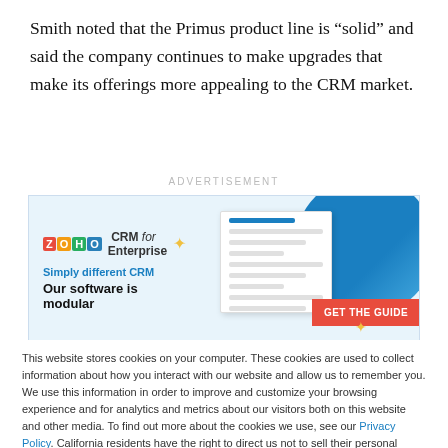Smith noted that the Primus product line is “solid” and said the company continues to make upgrades that make its offerings more appealing to the CRM market.
[Figure (other): Advertisement banner for Zoho CRM for Enterprise with tagline 'Simply different CRM', headline 'Our software is modular', and a red 'GET THE GUIDE' call-to-action button. Features document graphics and a blue circular graphic.]
This website stores cookies on your computer. These cookies are used to collect information about how you interact with our website and allow us to remember you. We use this information in order to improve and customize your browsing experience and for analytics and metrics about our visitors both on this website and other media. To find out more about the cookies we use, see our Privacy Policy. California residents have the right to direct us not to sell their personal information to third parties by filing an Opt-Out Request: Do Not Sell My Personal Info.
Accept